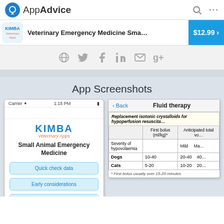AppAdvice
[Figure (screenshot): App banner for Veterinary Emergency Medicine Sma... priced at $12.99]
[Figure (screenshot): Social sharing icons row: globe, Twitter, Facebook, LinkedIn, email, Google+]
App Screenshots
[Figure (screenshot): Phone screenshot showing KIMBA Veterinary Apps - Small Animal Emergency Medicine app with buttons: Quick check data, Early considerations, Complaints and Disorders]
[Figure (screenshot): Tablet screenshot showing Fluid therapy screen with table: Replacement isotonic crystalloids for hypoperfusion resuscitation. Dogs: First bolus 10-40 ml/kg, Mild 20-40, Ma... Cats: First bolus 5-20 ml/kg, Mild 10-20, 20... Footnote: First bolus usually over 15-20 minutes]